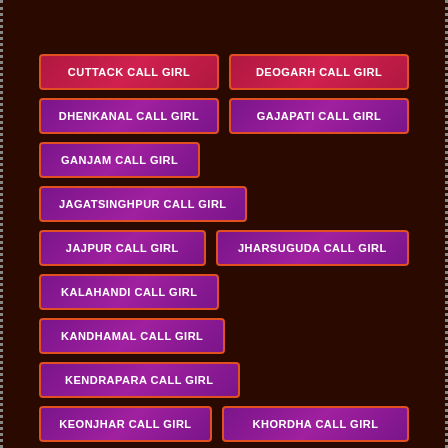CUTTACK CALL GIRL
DEOGARH CALL GIRL
DHENKANAL CALL GIRL
GAJAPATI CALL GIRL
GANJAM CALL GIRL
JAGATSINGHPUR CALL GIRL
JAJPUR CALL GIRL
JHARSUGUDA CALL GIRL
KALAHANDI CALL GIRL
KANDHAMAL CALL GIRL
KENDRAPARA CALL GIRL
KEONJHAR CALL GIRL
KHORDHA CALL GIRL